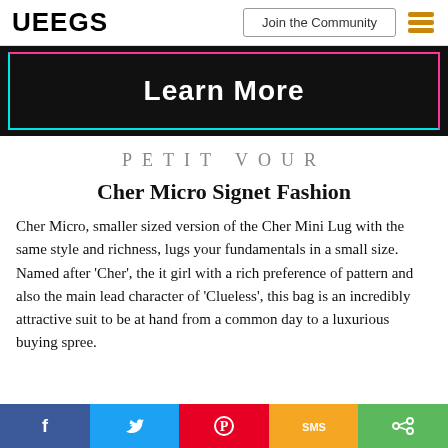UEEGS | Join the Community
[Figure (other): Dark banner with TikTok-style border (cyan/pink) containing bold white text 'Learn More']
PETIT VOUR
Cher Micro Signet Fashion
Cher Micro, smaller sized version of the Cher Mini Lug with the same style and richness, lugs your fundamentals in a small size. Named after 'Cher', the it girl with a rich preference of pattern and also the main lead character of 'Clueless', this bag is an incredibly attractive suit to be at hand from a common day to a luxurious buying spree.
Social share bar: Facebook, Twitter, Pinterest, SMS, Share